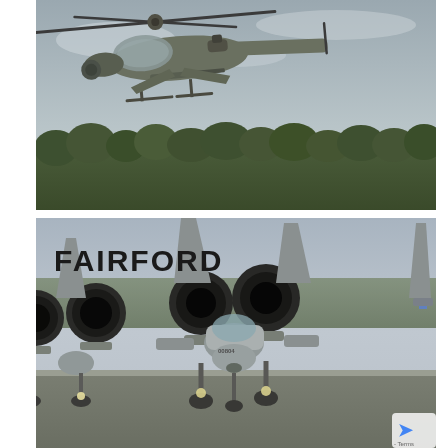[Figure (photo): Military Apache attack helicopter in flight against an overcast sky, with trees visible in the background. The helicopter is grey/green colored and photographed from a front-low angle.]
[Figure (photo): Front view of multiple A-10 Thunderbolt II (Warthog) ground attack aircraft parked on a runway at Fairford airbase. The text 'FAIRFORD' appears in large bold letters in the upper left of the image. A reCAPTCHA logo and 'Terms' text are partially visible in the lower right corner.]